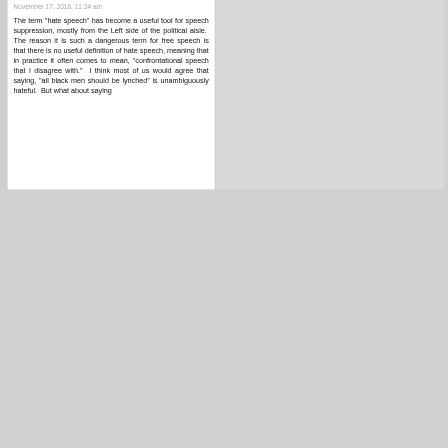November 17, 2016, 11:34 am
The term "hate speech" has become a useful tool for speech suppression, mostly from the Left side of the political aisle.  The reason it is such a dangerous term for free speech is that there is no useful definition of hate speech, meaning that in practice it often comes to mean, "confrontational speech that I disagree with."  I think most of us would agree that saying, "all black men should be lynched" is unambiguously hateful.  But what about saying